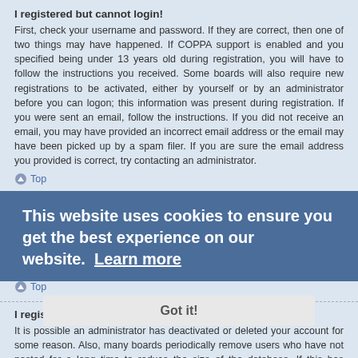I registered but cannot login!
First, check your username and password. If they are correct, then one of two things may have happened. If COPPA support is enabled and you specified being under 13 years old during registration, you will have to follow the instructions you received. Some boards will also require new registrations to be activated, either by yourself or by an administrator before you can logon; this information was present during registration. If you were sent an email, follow the instructions. If you did not receive an email, you may have provided an incorrect email address or the email may have been picked up by a spam filer. If you are sure the email address you provided is correct, try contacting an administrator.
Top
Why can't I login?
There are several reasons why this could occur. First, ensure your username and password are correct. If they are, contact a board administrator to make sure you haven't been banned. It is also possible the website owner has a co...
Top
I registered in the past but cannot login any more?!
It is possible an administrator has deactivated or deleted your account for some reason. Also, many boards periodically remove users who have not posted for a long time to reduce the size of the database. If this has happened, try registering
This website uses cookies to ensure you get the best experience on our website. Learn more
Got it!